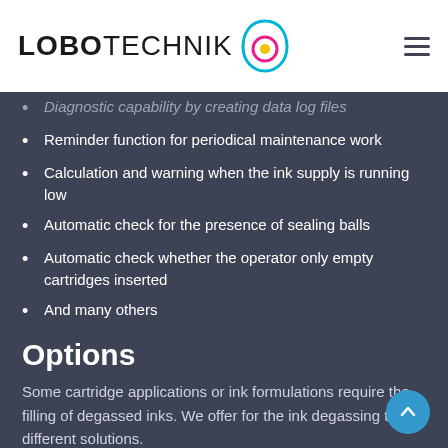LOBOTECHNIK
Diagnostic capability by creating data log files
Reminder function for periodical maintenance work
Calculation and warning when the ink supply is running low
Automatic check for the presence of sealing balls
Automatic check whether the operator only empty cartridges inserted
And many others
Options
Some cartridge applications or ink formulations require the filling of degassed inks. We offer for the ink degassing three different solutions.